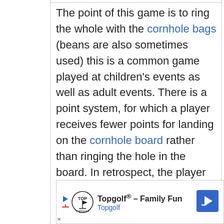The point of this game is to ring the whole with the cornhole bags (beans are also sometimes used) this is a common game played at children's events as well as adult events. There is a point system, for which a player receives fewer points for landing on the cornhole board rather than ringing the hole in the board. In retrospect, the player receives more points for ringing the hole. The player or team with the most points wins. Usually, in each game, the players decide what top score to play too. In this case the player or team that reaches this amount of points first, wins. This game can be played one on one or in teams. Make sure you learn how to play cornhole before getting
[Figure (other): Advertisement banner for Topgolf showing logo, play button icon, text 'Topgolf® - Family Fun' and 'Topgolf' subtitle, and a blue navigation arrow icon on the right.]